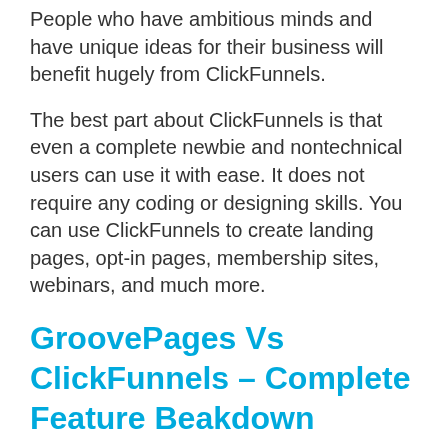People who have ambitious minds and have unique ideas for their business will benefit hugely from ClickFunnels.
The best part about ClickFunnels is that even a complete newbie and nontechnical users can use it with ease. It does not require any coding or designing skills. You can use ClickFunnels to create landing pages, opt-in pages, membership sites, webinars, and much more.
GroovePages Vs ClickFunnels – Complete Feature Beakdown